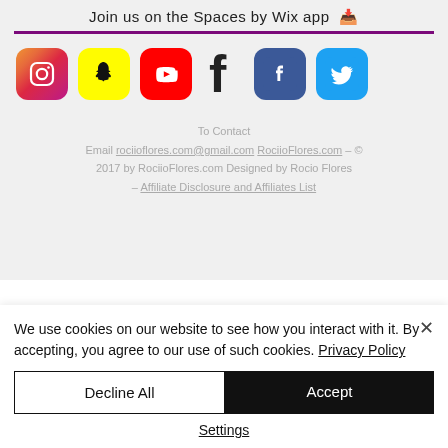Join us on the Spaces by Wix app ↓
[Figure (illustration): Row of social media icon buttons: Instagram (pink/red gradient), Snapchat (yellow), YouTube (red), Facebook F (black), Facebook (blue), Twitter (blue)]
To Contact
Email rociioflores.com@gmail.com RociioFlores.com - © 2017 by RociioFlores.com Designed by Rocio Flores – Affiliate Disclosure and Affiliates List
We use cookies on our website to see how you interact with it. By accepting, you agree to our use of such cookies. Privacy Policy
Decline All
Accept
Settings